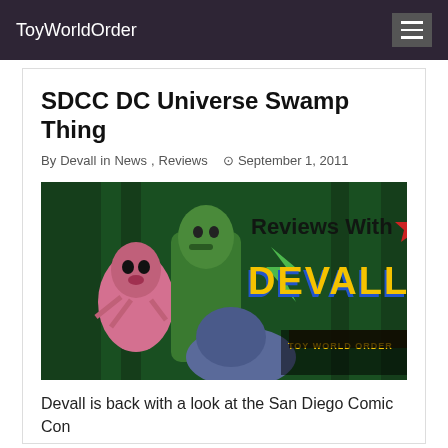ToyWorldOrder
SDCC DC Universe Swamp Thing
By Devall in News, Reviews  September 1, 2011
[Figure (photo): Review banner image showing monster action figures (Swamp Thing and other DC characters) with 'Reviews With Devall' branding and Toy World Order logo on a dark green forest background]
Devall is back with a look at the San Diego Comic Con